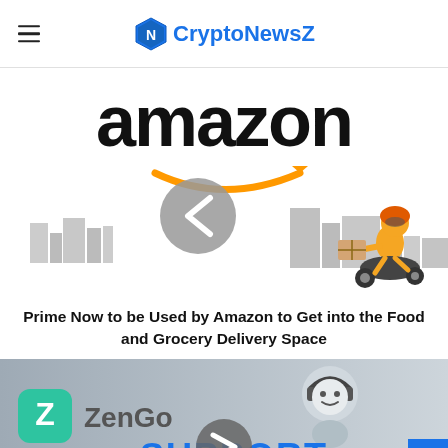CryptoNewsZ
[Figure (illustration): Amazon logo with delivery rider on scooter carrying a package, cityscape background, with a left-arrow navigation circle button overlay]
Prime Now to be Used by Amazon to Get into the Food and Grocery Delivery Space
[Figure (illustration): ZenGo logo on grey gradient background with a headset robot support figure and 'SUPPORT' text, right-arrow navigation circle button overlay, and blue scroll-to-top button]